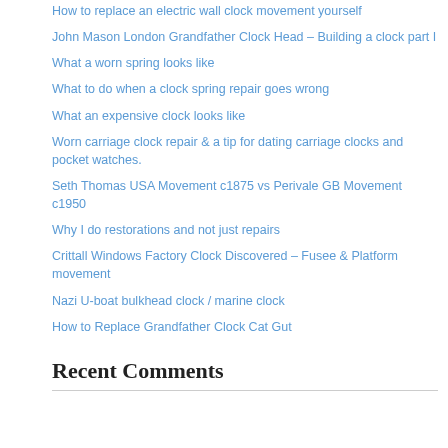How to replace an electric wall clock movement yourself
John Mason London Grandfather Clock Head – Building a clock part I
What a worn spring looks like
What to do when a clock spring repair goes wrong
What an expensive clock looks like
Worn carriage clock repair & a tip for dating carriage clocks and pocket watches.
Seth Thomas USA Movement c1875 vs Perivale GB Movement c1950
Why I do restorations and not just repairs
Crittall Windows Factory Clock Discovered – Fusee & Platform movement
Nazi U-boat bulkhead clock / marine clock
How to Replace Grandfather Clock Cat Gut
Recent Comments